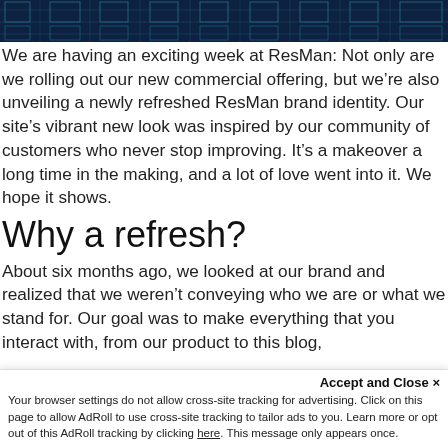[Figure (illustration): Dark navy header image with circuit board / technology grid pattern in teal/blue lines]
We are having an exciting week at ResMan: Not only are we rolling out our new commercial offering, but we’re also unveiling a newly refreshed ResMan brand identity. Our site’s vibrant new look was inspired by our community of customers who never stop improving. It’s a makeover a long time in the making, and a lot of love went into it. We hope it shows.
Why a refresh?
About six months ago, we looked at our brand and realized that we weren’t conveying who we are or what we stand for. Our goal was to make everything that you interact with, from our product to this blog,
Accept and Close ×
Your browser settings do not allow cross-site tracking for advertising. Click on this page to allow AdRoll to use cross-site tracking to tailor ads to you. Learn more or opt out of this AdRoll tracking by clicking here. This message only appears once.